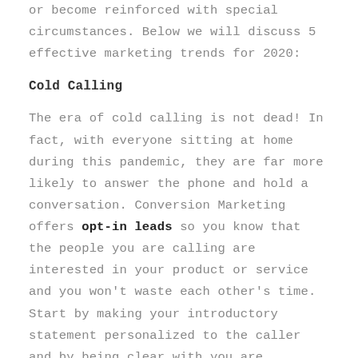or become reinforced with special circumstances. Below we will discuss 5 effective marketing trends for 2020:
Cold Calling
The era of cold calling is not dead! In fact, with everyone sitting at home during this pandemic, they are far more likely to answer the phone and hold a conversation. Conversion Marketing offers opt-in leads so you know that the people you are calling are interested in your product or service and you won't waste each other's time. Start by making your introductory statement personalized to the caller and by being clear with you are offering. Stay consistent with your efforts throughout the sales process and